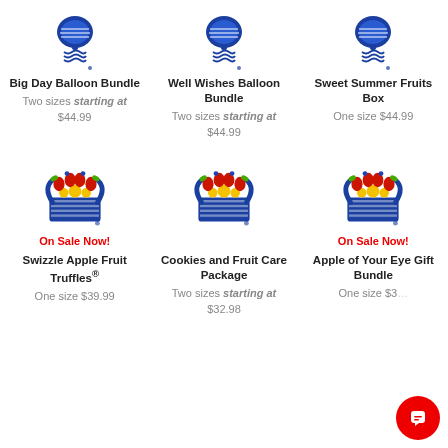[Figure (logo): Big Day Balloon Bundle product logo - blue balloon/gift icon]
Big Day Balloon Bundle
Two sizes starting at $44.99
[Figure (logo): Well Wishes Balloon Bundle product logo - blue balloon/gift icon]
Well Wishes Balloon Bundle
Two sizes starting at $44.99
[Figure (logo): Sweet Summer Fruits Box product logo - blue balloon/gift icon]
Sweet Summer Fruits Box
One size $44.99
[Figure (logo): Swizzle Apple Fruit Truffles product image - fruit basket with flowers]
On Sale Now!
Swizzle Apple Fruit Truffles®
One size $39.99
[Figure (logo): Cookies and Fruit Care Package product image - fruit basket with flowers]
Cookies and Fruit Care Package
Two sizes starting at $32.98
[Figure (logo): Apple of Your Eye Gift Bundle product image - fruit basket with flowers]
On Sale Now!
Apple of Your Eye Gift Bundle
One size $3...